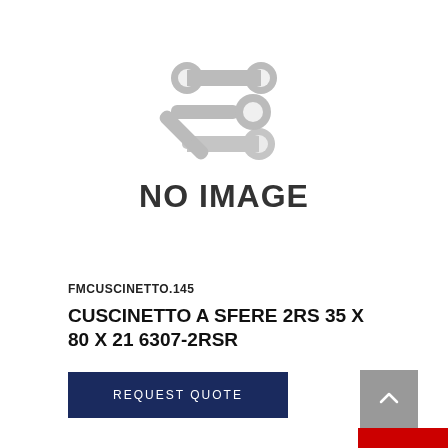[Figure (illustration): No image placeholder showing crossed wrench and gear icon in grey, with text NO IMAGE below]
FMCUSCINETTO.145
CUSCINETTO A SFERE 2RS 35 X 80 X 21 6307-2RSR
REQUEST QUOTE